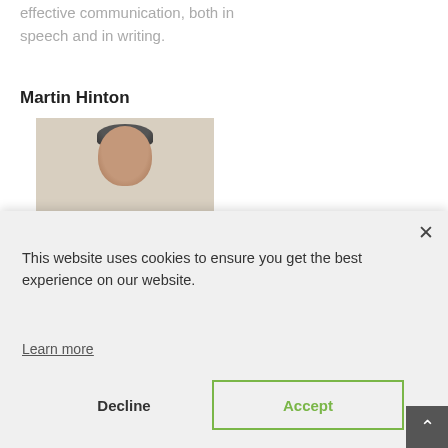effective communication, both in speech and in writing.
Martin Hinton
[Figure (photo): Headshot photo of Martin Hinton, man with short dark/grey hair, light background]
This website uses cookies to ensure you get the best experience on our website.
Learn more
Decline
Accept
evaluation and fallacy theory; other